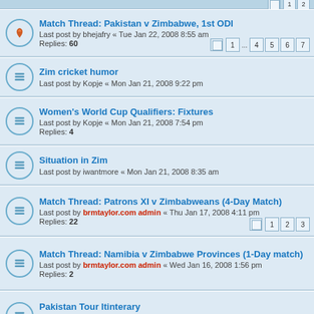Match Thread: Pakistan v Zimbabwe, 1st ODI | Last post by bhejafry « Tue Jan 22, 2008 8:55 am | Replies: 60
Zim cricket humor | Last post by Kopje « Mon Jan 21, 2008 9:22 pm
Women's World Cup Qualifiers: Fixtures | Last post by Kopje « Mon Jan 21, 2008 7:54 pm | Replies: 4
Situation in Zim | Last post by iwantmore « Mon Jan 21, 2008 8:35 am
Match Thread: Patrons XI v Zimbabweans (4-Day Match) | Last post by brmtaylor.com admin « Thu Jan 17, 2008 4:11 pm | Replies: 22
Match Thread: Namibia v Zimbabwe Provinces (1-Day match) | Last post by brmtaylor.com admin « Wed Jan 16, 2008 1:56 pm | Replies: 2
Pakistan Tour Itinterary | Last post by brmtaylor.com admin « Mon Jan 14, 2008 10:42 am | Replies: 10
Match Thread: Namibia v Zimbabwe Provinces (3-Day Match) | Last post by brmtaylor.com admin « Sun Jan 13, 2008 1:32 am | Replies: 35